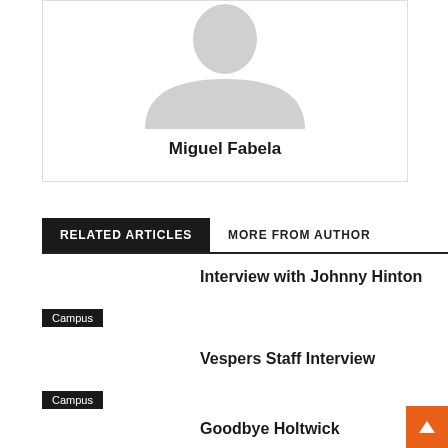[Figure (photo): Gray placeholder avatar silhouette of a person]
Miguel Fabela
RELATED ARTICLES   MORE FROM AUTHOR
Interview with Johnny Hinton
Campus
Vespers Staff Interview
Campus
Goodbye Holtwick